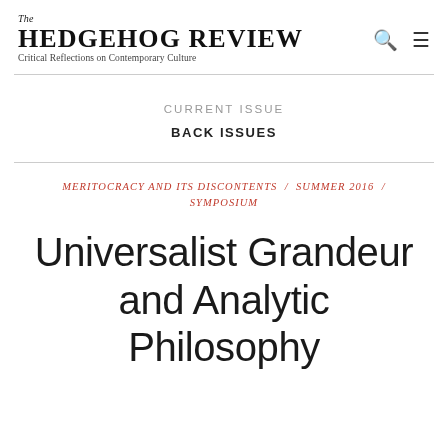The HEDGEHOG REVIEW
Critical Reflections on Contemporary Culture
CURRENT ISSUE
BACK ISSUES
MERITOCRACY AND ITS DISCONTENTS / SUMMER 2016 / SYMPOSIUM
Universalist Grandeur and Analytic Philosophy